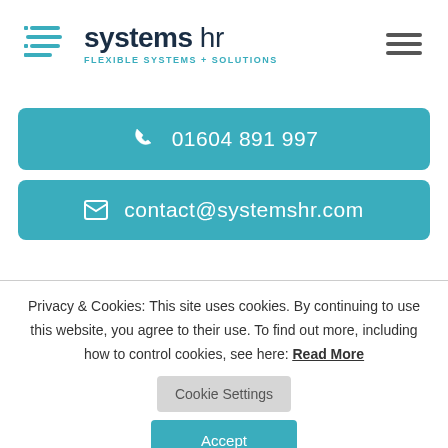[Figure (logo): Systems HR logo with teal horizontal lines icon and company name 'systems hr' in dark blue/gray with tagline 'FLEXIBLE SYSTEMS + SOLUTIONS' in teal]
01604 891 997
contact@systemshr.com
Privacy & Cookies: This site uses cookies. By continuing to use this website, you agree to their use. To find out more, including how to control cookies, see here: Read More
Cookie Settings
Accept